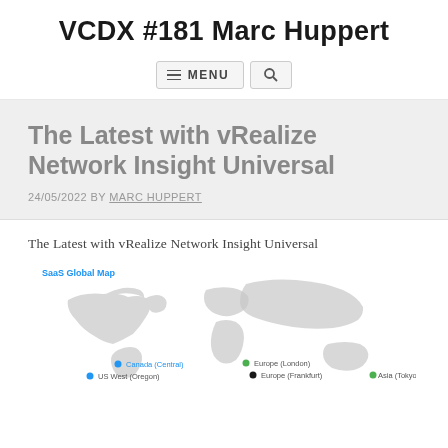VCDX #181 Marc Huppert
The Latest with vRealize Network Insight Universal
24/05/2022 BY MARC HUPPERT
The Latest with vRealize Network Insight Universal
[Figure (map): SaaS Global Map showing data center locations including Canada (Central), US West (Oregon), Europe (London), Europe (Frankfurt), and Asia (Tokyo)]